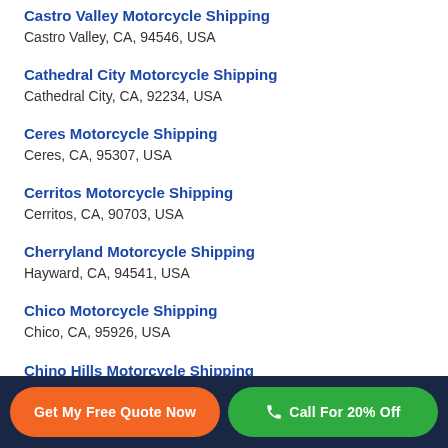Castro Valley Motorcycle Shipping
Castro Valley, CA, 94546, USA
Cathedral City Motorcycle Shipping
Cathedral City, CA, 92234, USA
Ceres Motorcycle Shipping
Ceres, CA, 95307, USA
Cerritos Motorcycle Shipping
Cerritos, CA, 90703, USA
Cherryland Motorcycle Shipping
Hayward, CA, 94541, USA
Chico Motorcycle Shipping
Chico, CA, 95926, USA
Chino Hills Motorcycle Shipping
Chino Hills, CA, 91709, USA
Get My Free Quote Now | Call For 20% Off